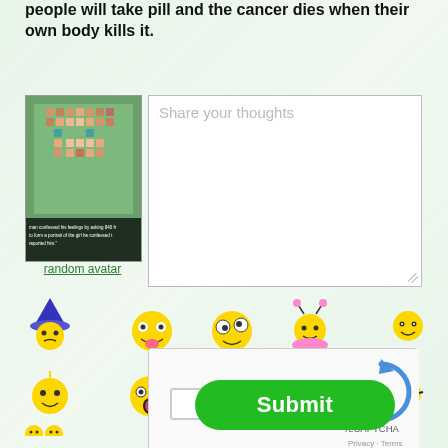people will take pill and the cancer dies when their own body kills it.
[Figure (photo): Pixelated portrait image of a woman with greenish tones, with caption text below]
random avatar
[Figure (illustration): Comment text area with placeholder text 'Share your thoughts']
[Figure (illustration): Row of emoji/smiley face stickers including wizard hat, crazy face, googly eyes, bee girl, and others]
[Figure (illustration): reCAPTCHA widget with checkbox 'I'm not a robot']
Submit